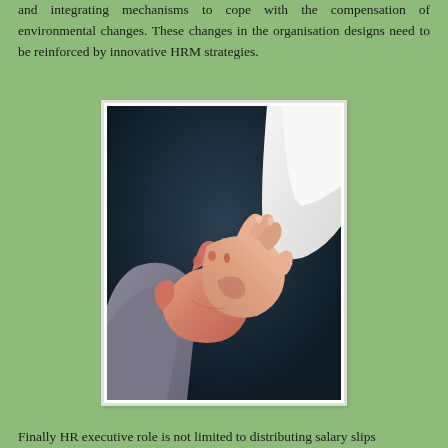and integrating mechanisms to cope with the compensation of environmental changes. These changes in the organisation designs need to be reinforced by innovative HRM strategies.
[Figure (photo): A photograph of two people shaking hands, one in a business suit sleeve, against a dark background.]
Finally HR executive role is not limited to distributing salary slips